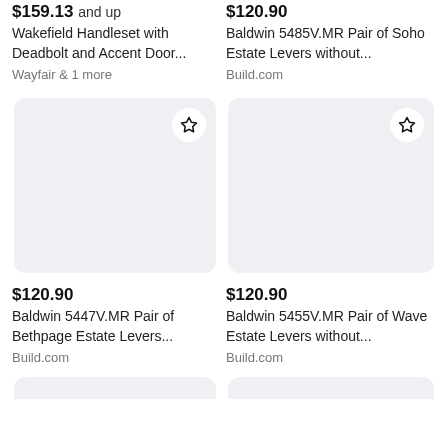$159.13 and up
Wakefield Handleset with Deadbolt and Accent Door...
Wayfair & 1 more
$120.90
Baldwin 5485V.MR Pair of Soho Estate Levers without...
Build.com
[Figure (other): Product image placeholder card with star/bookmark icon, light gray background]
[Figure (other): Product image placeholder card with star/bookmark icon, light gray background]
$120.90
Baldwin 5447V.MR Pair of Bethpage Estate Levers...
Build.com
$120.90
Baldwin 5455V.MR Pair of Wave Estate Levers without...
Build.com